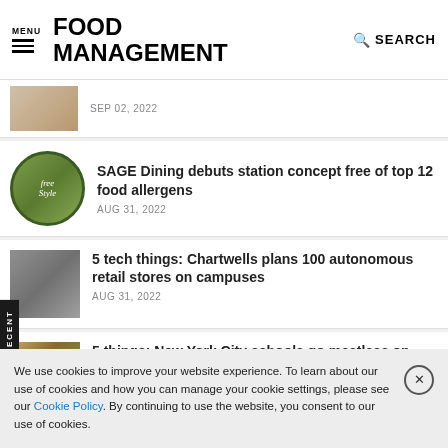MENU | FOOD MANAGEMENT | SEARCH
SEP 02, 2022
SAGE Dining debuts station concept free of top 12 food allergens
AUG 31, 2022
5 tech things: Chartwells plans 100 autonomous retail stores on campuses
AUG 31, 2022
5 things: New York City schools go meatless on
We use cookies to improve your website experience. To learn about our use of cookies and how you can manage your cookie settings, please see our Cookie Policy. By continuing to use the website, you consent to our use of cookies.